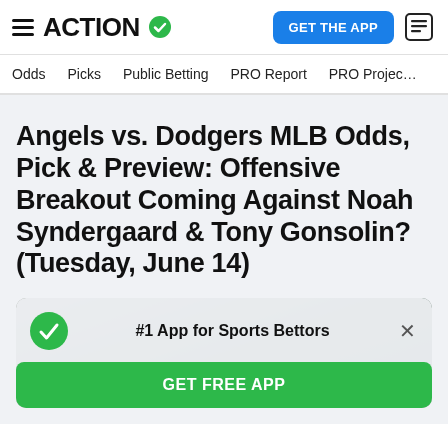ACTION #1 App for Sports Bettors — GET THE APP
Odds | Picks | Public Betting | PRO Report | PRO Project
Angels vs. Dodgers MLB Odds, Pick & Preview: Offensive Breakout Coming Against Noah Syndergaard & Tony Gonsolin? (Tuesday, June 14)
[Figure (infographic): App promotion card with green checkmark circle, '#1 App for Sports Bettors' text, close button, and 'GET FREE APP' green button, overlaid on a blurred photo background]
#1 App for Sports Bettors
GET FREE APP